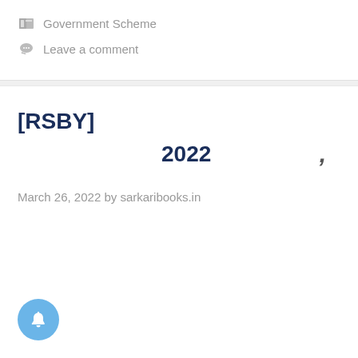Government Scheme
Leave a comment
[RSBY]
2022 ,
March 26, 2022 by sarkaribooks.in